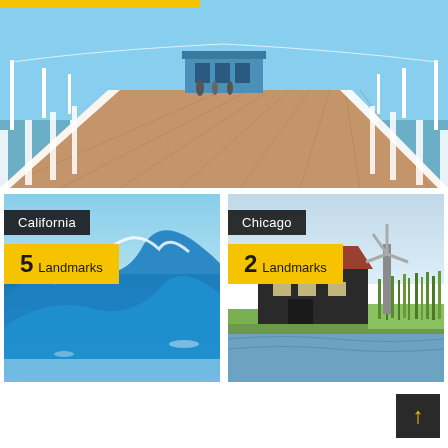[Figure (photo): A pier extending into the sea with white railings and lamp posts, wooden boardwalk, and a blue sky. A building is visible at the far end.]
[Figure (photo): Ocean wave photo with California label and 5 Landmarks count badge]
[Figure (photo): Dutch countryside with windmill and farmhouse near water, Chicago label and 2 Landmarks count badge]